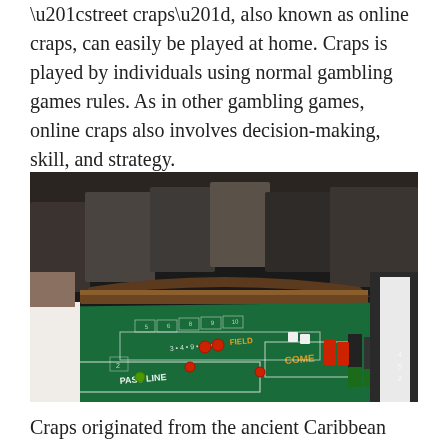“street craps”, also known as online craps, can easily be played at home. Craps is played by individuals using normal gambling games rules. As in other gambling games, online craps also involves decision-making, skill, and strategy.
[Figure (photo): A craps table in a casino surrounded by players and a dealer. The green felt table shows the craps layout with PASS LINE, COME, FIELD markings. Red and black chips are stacked on the right side.]
Craps originated from the ancient Caribbean island